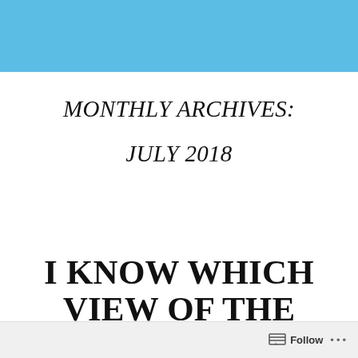MONTHLY ARCHIVES:
JULY 2018
I KNOW WHICH VIEW OF THE EMPYREAN I THINK MORE